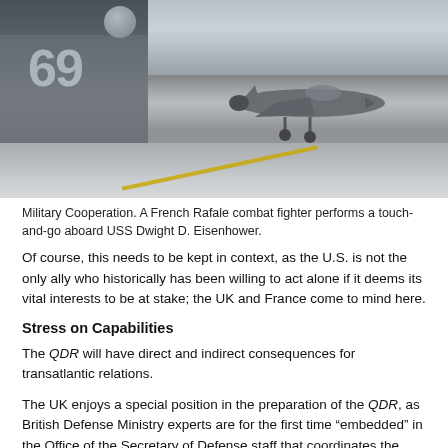[Figure (photo): A French Rafale combat fighter jet on the deck of USS Dwight D. Eisenhower aircraft carrier, with the ship's island tower showing number 69, during a touch-and-go exercise.]
Military Cooperation. A French Rafale combat fighter performs a touch-and-go aboard USS Dwight D. Eisenhower.
Of course, this needs to be kept in context, as the U.S. is not the only ally who historically has been willing to act alone if it deems its vital interests to be at stake; the UK and France come to mind here.
Stress on Capabilities
The QDR will have direct and indirect consequences for transatlantic relations.
The UK enjoys a special position in the preparation of the QDR, as British Defense Ministry experts are for the first time “embedded” in the Office of the Secretary of Defense staff that coordinates the review--a reflection of